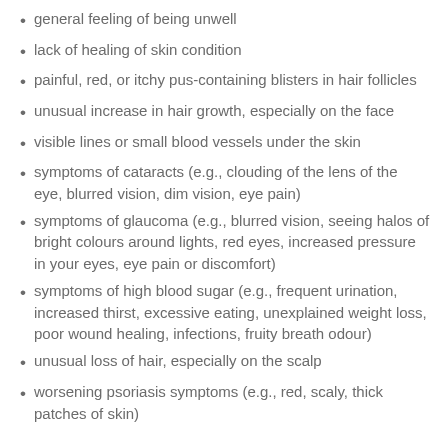general feeling of being unwell
lack of healing of skin condition
painful, red, or itchy pus-containing blisters in hair follicles
unusual increase in hair growth, especially on the face
visible lines or small blood vessels under the skin
symptoms of cataracts (e.g., clouding of the lens of the eye, blurred vision, dim vision, eye pain)
symptoms of glaucoma (e.g., blurred vision, seeing halos of bright colours around lights, red eyes, increased pressure in your eyes, eye pain or discomfort)
symptoms of high blood sugar (e.g., frequent urination, increased thirst, excessive eating, unexplained weight loss, poor wound healing, infections, fruity breath odour)
unusual loss of hair, especially on the scalp
worsening psoriasis symptoms (e.g., red, scaly, thick patches of skin)